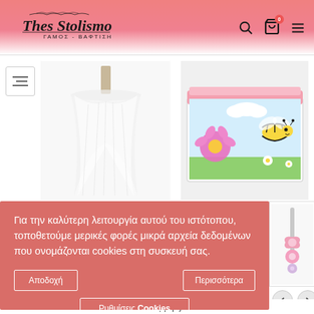Thes Stolismo - ΓΑΜΟΣ - ΒΑΦΤΙΣΗ
[Figure (photo): Two product images: a white fabric/tulle decorative item on the left, and a children's toy box with Maya the Bee illustration on the right]
Για την καλύτερη λειτουργία αυτού του ιστότοπου, τοποθετούμε μερικές φορές μικρά αρχεία δεδομένων που ονομάζονται cookies στη συσκευή σας.
Αποδοχή
Περισσότερα
Ρυθμίσεις Cookies
[Figure (photo): Small thumbnail of a decorative item with pink bow/flower]
ορμη. )